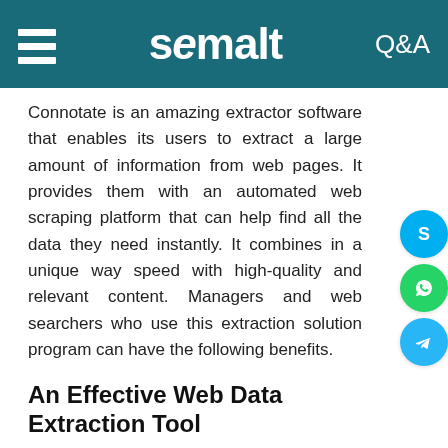semalt Q&A
Connotate is an amazing extractor software that enables its users to extract a large amount of information from web pages. It provides them with an automated web scraping platform that can help find all the data they need instantly. It combines in a unique way speed with high-quality and relevant content. Managers and web searchers who use this extraction solution program can have the following benefits.
An Effective Web Data Extraction Tool
Connotate offers a simple interface, where the users can extract all the data they need without having to spend many hours. In fact, the experts of this platform take care of everything, so the web searchers don't have to spend a lot of time gathering all the info they want, and they don't have